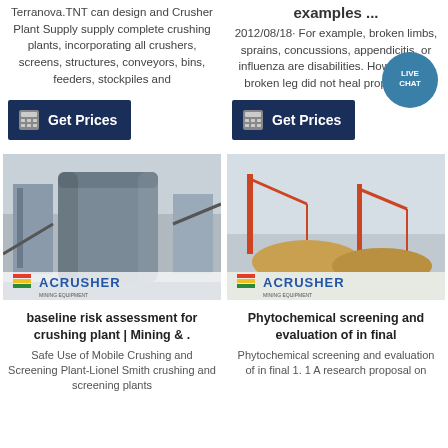Terranova.TNT can design and Crusher Plant Supply supply complete crushing plants, incorporating all crushers, screens, structures, conveyors, bins, feeders, stockpiles and
examples ...
2012/08/18· For example, broken limbs, sprains, concussions, appendicitis, or influenza are disabilities. However, if a broken leg did not heal properly and
[Figure (other): Get Prices button with calculator icon, dark navy background]
[Figure (other): Get Prices button with calculator icon, dark navy background]
[Figure (photo): Industrial crushing plant with large cylindrical silo and ACRUSHER logo]
[Figure (photo): Mining/crushing facility with cranes and stockpiles, ACRUSHER logo]
baseline risk assessment for crushing plant | Mining & .
Safe Use of Mobile Crushing and Screening Plant-Lionel Smith crushing and screening plants
Phytochemical screening and evaluation of in final
Phytochemical screening and evaluation of in final 1. 1 A research proposal on